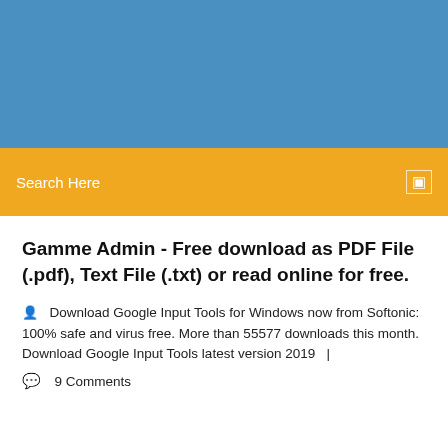[Figure (screenshot): Blue banner header area at the top of a webpage]
Search Here
Gamme Admin - Free download as PDF File (.pdf), Text File (.txt) or read online for free.
Download Google Input Tools for Windows now from Softonic: 100% safe and virus free. More than 55577 downloads this month. Download Google Input Tools latest version 2019   |
9 Comments